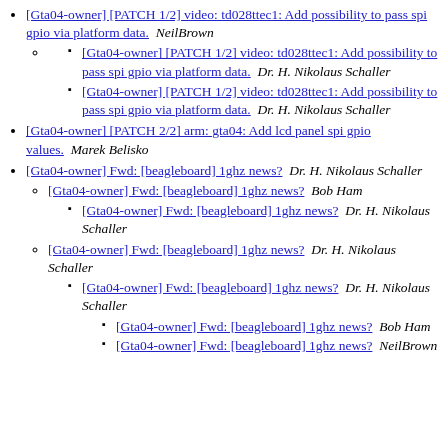[Gta04-owner] [PATCH 1/2] video: td028ttec1: Add possibility to pass spi gpio via platform data.  NeilBrown
[Gta04-owner] [PATCH 1/2] video: td028ttec1: Add possibility to pass spi gpio via platform data.  Dr. H. Nikolaus Schaller
[Gta04-owner] [PATCH 1/2] video: td028ttec1: Add possibility to pass spi gpio via platform data.  Dr. H. Nikolaus Schaller
[Gta04-owner] [PATCH 2/2] arm: gta04: Add lcd panel spi gpio values.  Marek Belisko
[Gta04-owner] Fwd: [beagleboard] 1ghz news?  Dr. H. Nikolaus Schaller
[Gta04-owner] Fwd: [beagleboard] 1ghz news?  Bob Ham
[Gta04-owner] Fwd: [beagleboard] 1ghz news?  Dr. H. Nikolaus Schaller
[Gta04-owner] Fwd: [beagleboard] 1ghz news?  Dr. H. Nikolaus Schaller
[Gta04-owner] Fwd: [beagleboard] 1ghz news?  Dr. H. Nikolaus Schaller
[Gta04-owner] Fwd: [beagleboard] 1ghz news?  Bob Ham
[Gta04-owner] Fwd: [beagleboard] 1ghz news?  NeilBrown